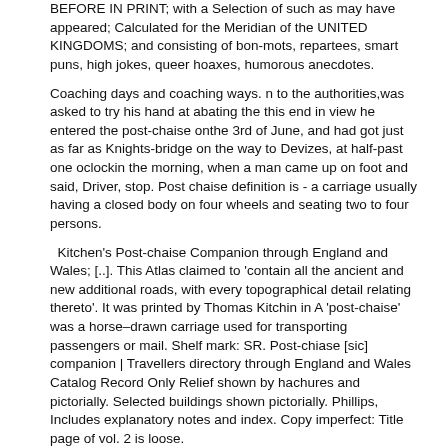BEFORE IN PRINT; with a Selection of such as may have appeared; Calculated for the Meridian of the UNITED KINGDOMS; and consisting of bon-mots, repartees, smart puns, high jokes, queer hoaxes, humorous anecdotes.
Coaching days and coaching ways. n to the authorities,was asked to try his hand at abating the this end in view he entered the post-chaise onthe 3rd of June, and had got just as far as Knights-bridge on the way to Devizes, at half-past one oclockin the morning, when a man came up on foot and said, Driver, stop. Post chaise definition is - a carriage usually having a closed body on four wheels and seating two to four persons.
Kitchen's Post-chaise Companion through England and Wales; [..]. This Atlas claimed to 'contain all the ancient and new additional roads, with every topographical detail relating thereto'. It was printed by Thomas Kitchin in A 'post-chaise' was a horse–drawn carriage used for transporting passengers or mail. Shelf mark: SR. Post-chiase [sic] companion | Travellers directory through England and Wales Catalog Record Only Relief shown by hachures and pictorially. Selected buildings shown pictorially. Phillips, Includes explanatory notes and index. Copy imperfect: Title page of vol. 2 is loose.
Available for Download
Download PDF
Download EPUB